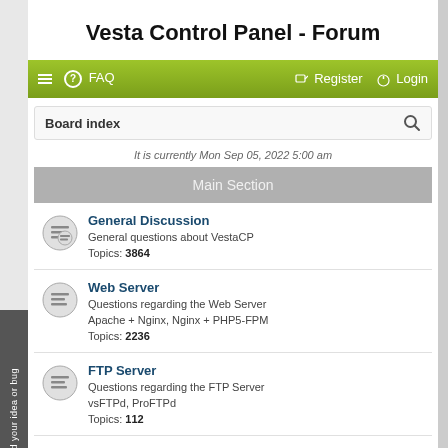Vesta Control Panel - Forum
≡  FAQ    Register  Login
Board index
It is currently Mon Sep 05, 2022 5:00 am
Main Section
General Discussion
General questions about VestaCP
Topics: 3864
Web Server
Questions regarding the Web Server Apache + Nginx, Nginx + PHP5-FPM
Topics: 2236
FTP Server
Questions regarding the FTP Server vsFTPd, ProFTPd
Topics: 112